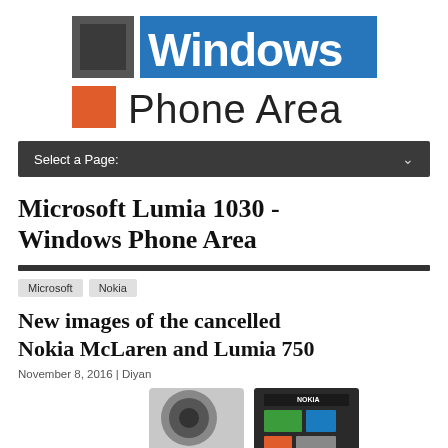[Figure (logo): Windows Phone Area logo with grey square icon on left, blue rectangle with 'Windows' text, and orange rectangle with 'Phone Area' text below]
Select a Page:
Microsoft Lumia 1030 - Windows Phone Area
Microsoft | Nokia
New images of the cancelled Nokia McLaren and Lumia 750
November 8, 2016 | Diyan
[Figure (photo): Photo of two Nokia/Microsoft Lumia phones side by side]